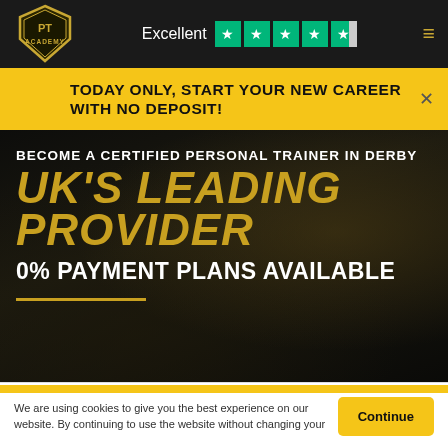[Figure (logo): PT Academy shield logo — gold shield with 'PT ACADEMY' text, black background header bar with Trustpilot 'Excellent' rating (4.5 stars in green) and hamburger menu icon]
TODAY ONLY, START YOUR NEW CAREER WITH NO DEPOSIT!
BECOME A CERTIFIED PERSONAL TRAINER IN DERBY
UK'S LEADING PROVIDER
0% PAYMENT PLANS AVAILABLE
We are using cookies to give you the best experience on our website. By continuing to use the website without changing your settings, you are accepting our use of cookies.